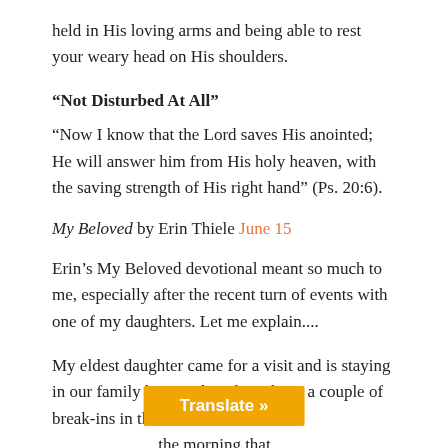held in His loving arms and being able to rest your weary head on His shoulders.
“Not Disturbed At All”
“Now I know that the Lord saves His anointed; He will answer him from His holy heaven, with the saving strength of His right hand” (Ps. 20:6).
My Beloved by Erin Thiele June 15
Erin’s My Beloved devotional meant so much to me, especially after the recent turn of events with one of my daughters. Let me explain....
My eldest daughter came for a visit and is staying in our family home. There have been a couple of break-ins in the home and she share… the morning that